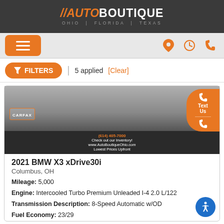//AUTOBOUTIQUE OHIO | FLORIDA | TEXAS
[Figure (screenshot): Auto Boutique dealership website screenshot showing navigation bar with hamburger menu and icons, filters bar with 5 applied, vehicle listing card for 2021 BMW X3 xDrive30i with car image and specifications]
FILTERS | 5 applied [Clear]
2021 BMW X3 xDrive30i
Columbus, OH
Mileage: 5,000
Engine: Intercooled Turbo Premium Unleaded I-4 2.0 L/122
Transmission Description: 8-Speed Automatic w/OD
Fuel Economy: 23/29